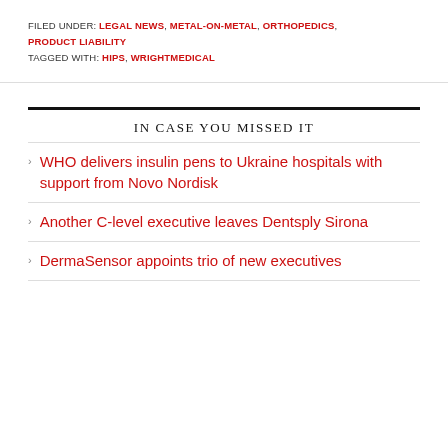FILED UNDER: LEGAL NEWS, METAL-ON-METAL, ORTHOPEDICS, PRODUCT LIABILITY
TAGGED WITH: HIPS, WRIGHTMEDICAL
IN CASE YOU MISSED IT
WHO delivers insulin pens to Ukraine hospitals with support from Novo Nordisk
Another C-level executive leaves Dentsply Sirona
DermaSensor appoints trio of new executives